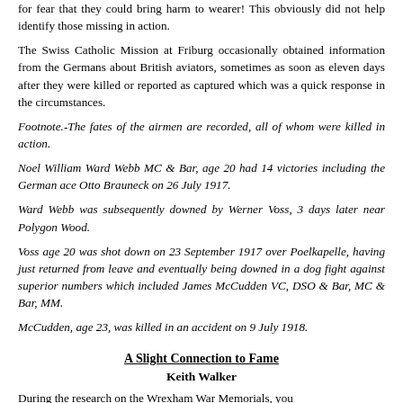for fear that they could bring harm to wearer! This obviously did not help identify those missing in action.
The Swiss Catholic Mission at Friburg occasionally obtained information from the Germans about British aviators, sometimes as soon as eleven days after they were killed or reported as captured which was a quick response in the circumstances.
Footnote.-The fates of the airmen are recorded, all of whom were killed in action.
Noel William Ward Webb MC & Bar, age 20 had 14 victories including the German ace Otto Brauneck on 26 July 1917.
Ward Webb was subsequently downed by Werner Voss, 3 days later near Polygon Wood.
Voss age 20 was shot down on 23 September 1917 over Poelkapelle, having just returned from leave and eventually being downed in a dog fight against superior numbers which included James McCudden VC, DSO & Bar, MC & Bar, MM.
McCudden, age 23, was killed in an accident on 9 July 1918.
A Slight Connection to Fame
Keith Walker
During the research on the Wrexham War Memorials, you